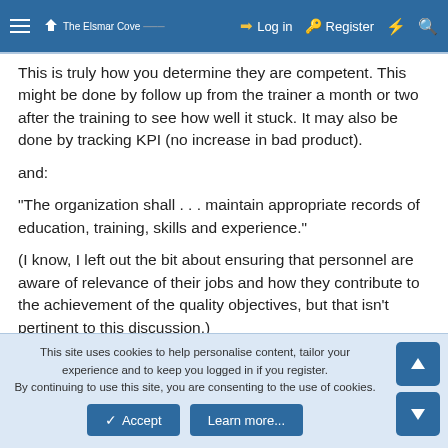The Elsmar Cove  Log in  Register
This is truly how you determine they are competent. This might be done by follow up from the trainer a month or two after the training to see how well it stuck. It may also be done by tracking KPI (no increase in bad product).
and:
"The organization shall . . . maintain appropriate records of education, training, skills and experience."
(I know, I left out the bit about ensuring that personnel are aware of relevance of their jobs and how they contribute to the achievement of the quality objectives, but that isn't pertinent to this discussion.)
This site uses cookies to help personalise content, tailor your experience and to keep you logged in if you register.
By continuing to use this site, you are consenting to the use of cookies.